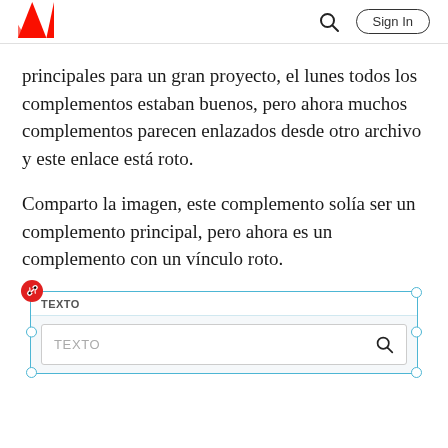Adobe | Sign In
principales para un gran proyecto, el lunes todos los complementos estaban buenos, pero ahora muchos complementos parecen enlazados desde otro archivo y este enlace está roto.
Comparto la imagen, este complemento solía ser un complemento principal, pero ahora es un complemento con un vínculo roto.
[Figure (screenshot): Screenshot of an Adobe UI component showing a broken-link badge (red circle with chain icon) in the top-left corner of a selected element. The element has a teal/green border with circular handles at corners and midpoints. Inside shows a label row reading 'TEXTO' and below it a search input box also labeled 'TEXTO' with a magnifying glass icon on the right.]